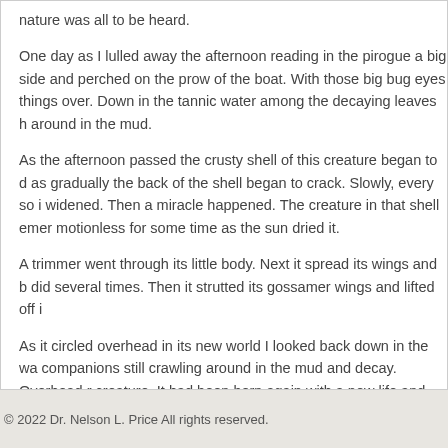nature was all to be heard.
One day as I lulled away the afternoon reading in the pirogue a big side and perched on the prow of the boat. With those big bug eyes things over. Down in the tannic water among the decaying leaves h around in the mud.
As the afternoon passed the crusty shell of this creature began to d as gradually the back of the shell began to crack. Slowly, every so i widened. Then a miracle happened. The creature in that shell emer motionless for some time as the sun dried it.
A trimmer went through its little body. Next it spread its wings and b did several times. Then it strutted its gossamer wings and lifted off i
As it circled overhead in its new world I looked back down in the wa companions still crawling around in the mud and decay. Overhead r creature. It had been born again with a new life and lifestyle. That's
© 2022 Dr. Nelson L. Price All rights reserved.